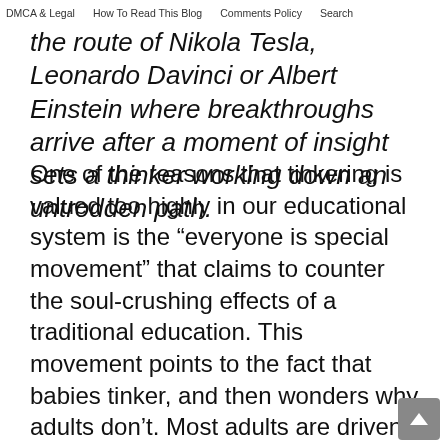DMCA & Legal   How To Read This Blog   Comments Policy   Search
the route of Nikola Tesla, Leonardo Davinci or Albert Einstein where breakthroughs arrive after a moment of insight sets a thinker working down an untrodden path.
One of the reasons that tinkering is valued too highly in our educational system is the “everyone is special movement” that claims to counter the soul-crushing effects of a traditional education. This movement points to the fact that babies tinker, and then wonders why adults don’t. Most adults are driven by a few simple desires, and once they find a means of fulfilling those desires, the urge to explore diminishes. Professor Dutch has a great refutation of the “born creative” line of thinking (plus a gratuitous jab at Carl Sagan):